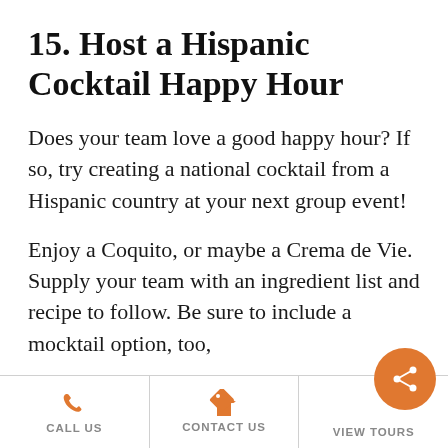15. Host a Hispanic Cocktail Happy Hour
Does your team love a good happy hour? If so, try creating a national cocktail from a Hispanic country at your next group event!
Enjoy a Coquito, or maybe a Crema de Vie. Supply your team with an ingredient list and recipe to follow. Be sure to include a mocktail option, too,
CALL US | CONTACT US | VIEW TOURS